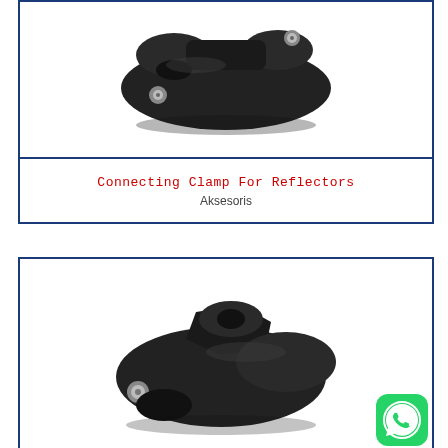[Figure (photo): Black plastic connecting clamp for reflectors, viewed from front, showing bolt holes and mounting hardware]
Connecting Clamp For Reflectors
Aksesoris
[Figure (photo): Black plastic connecting clamp for reflectors, viewed from a different angle showing the clamp body with oval hole and bolt]